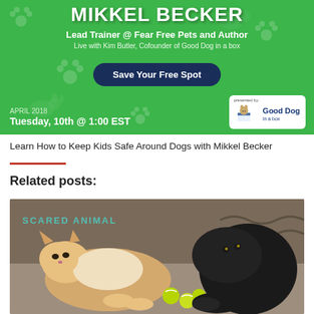[Figure (infographic): Green banner advertisement for a webinar with Mikkel Becker, Lead Trainer at Fear Free Pets and Author. Features a 'Save Your Free Spot' button, date April 2018, Tuesday 10th @ 1:00 EST, and Good Dog in a box logo.]
Learn How to Keep Kids Safe Around Dogs with Mikkel Becker
Related posts:
[Figure (photo): Photo of two cats, one orange/white and one black, playing together on a floor with green tennis balls between them. Teal watermark text visible in upper left corner.]